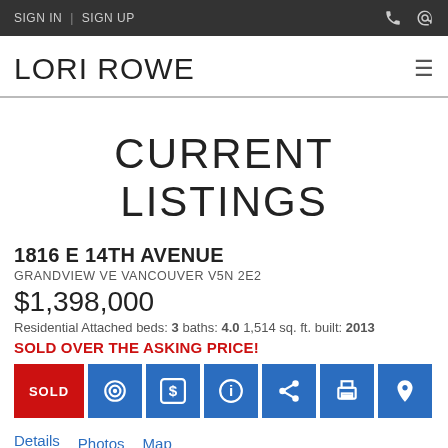SIGN IN | SIGN UP
LORI ROWE
CURRENT LISTINGS
1816 E 14TH AVENUE
GRANDVIEW VE VANCOUVER V5N 2E2
$1,398,000
Residential Attached beds: 3 baths: 4.0 1,514 sq. ft. built: 2013
SOLD OVER THE ASKING PRICE!
Details  Photos  Map